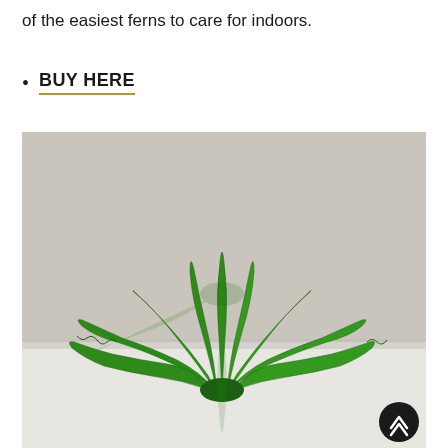of the easiest ferns to care for indoors.
BUY HERE
[Figure (photo): A Bird's Nest fern (Asplenium nidus) with bright green, wavy, strap-like fronds radiating outward from a central rosette, photographed against a warm gray background with a slight reflection visible on a white surface below.]